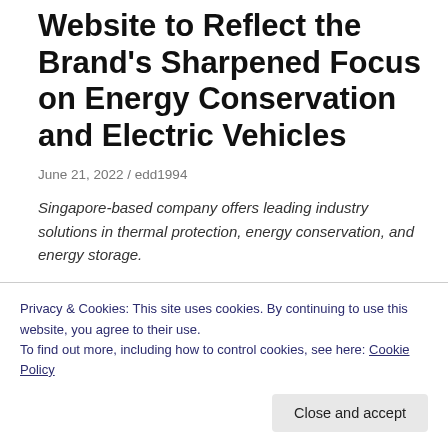Website to Reflect the Brand's Sharpened Focus on Energy Conservation and Electric Vehicles
June 21, 2022 / edd1994
Singapore-based company offers leading industry solutions in thermal protection, energy conservation, and energy storage.
SINGAPORE, June 21, 2022 /PRNewswire/ — JIOS Aerogel, an innovator in critical components for Li-ion
Privacy & Cookies: This site uses cookies. By continuing to use this website, you agree to their use.
To find out more, including how to control cookies, see here: Cookie Policy